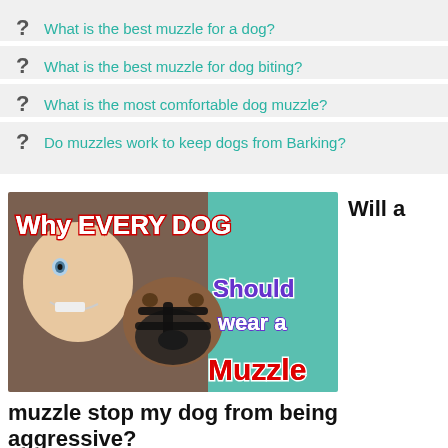What is the best muzzle for a dog?
What is the best muzzle for dog biting?
What is the most comfortable dog muzzle?
Do muzzles work to keep dogs from Barking?
[Figure (photo): Thumbnail image showing a person with a dog wearing a muzzle, with overlaid text: 'Why EVERY DOG Should wear a Muzzle']
Will a muzzle stop my dog from being aggressive?
Dog muzzles can be used to control biting. They should be